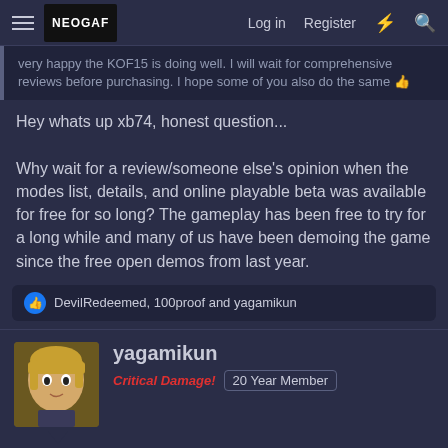NEOGAF [logo] | Log in | Register
very happy the KOF15 is doing well. I will wait for comprehensive reviews before purchasing. I hope some of you also do the same 👍
Hey whats up xb74, honest question...

Why wait for a review/someone else's opinion when the modes list, details, and online playable beta was available for free for so long? The gameplay has been free to try for a long while and many of us have been demoing the game since the free open demos from last year.
DevilRedeemed, 100proof and yagamikun
yagamikun
Critical Damage! 20 Year Member
Feb 17, 2022 #808
BlackaneseNiNjA said: ↑
Hey whats up xb74, honest question...